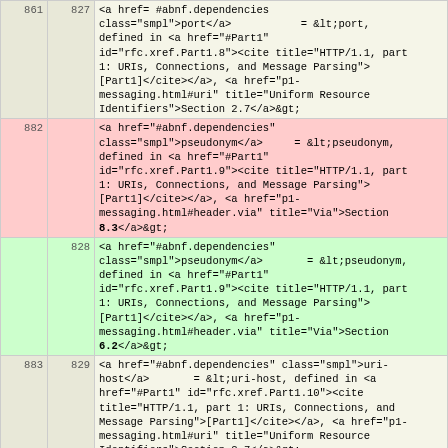| line_old | line_new | content |
| --- | --- | --- |
| 861 | 827 | <a href= #abnf.dependencies class="smpl">port</a>          = &lt;port, defined in <a href="#Part1" id="rfc.xref.Part1.8"><cite title="HTTP/1.1, part 1: URIs, Connections, and Message Parsing">[Part1]</cite></a>, <a href="p1-messaging.html#uri" title="Uniform Resource Identifiers">Section 2.7</a>&gt; |
| 882 |  | <a href="#abnf.dependencies" class="smpl">pseudonym</a>     = &lt;pseudonym, defined in <a href="#Part1" id="rfc.xref.Part1.9"><cite title="HTTP/1.1, part 1: URIs, Connections, and Message Parsing">[Part1]</cite></a>, <a href="p1-messaging.html#header.via" title="Via">Section 8.3</a>&gt; |
|  | 828 | <a href="#abnf.dependencies" class="smpl">pseudonym</a>     = &lt;pseudonym, defined in <a href="#Part1" id="rfc.xref.Part1.9"><cite title="HTTP/1.1, part 1: URIs, Connections, and Message Parsing">[Part1]</cite></a>, <a href="p1-messaging.html#header.via" title="Via">Section 6.2</a>&gt; |
| 883 | 829 | <a href="#abnf.dependencies" class="smpl">uri-host</a>     = &lt;uri-host, defined in <a href="#Part1" id="rfc.xref.Part1.10"><cite title="HTTP/1.1, part 1: URIs, Connections, and Message Parsing">[Part1]</cite></a>, <a href="p1-messaging.html#uri" title="Uniform Resource Identifiers">Section 2.7</a>&gt; |
| 884 | 830 | </pre><h2 id="rfc.section.1.5"><a href="#rfc.section.1.5">1.5</a>&nbsp;<a id="delta-seconds" href="#delta-seconds">Delta Seconds</a></h2> |
| ... | ... |  |
| 953 | 809 | </p> |